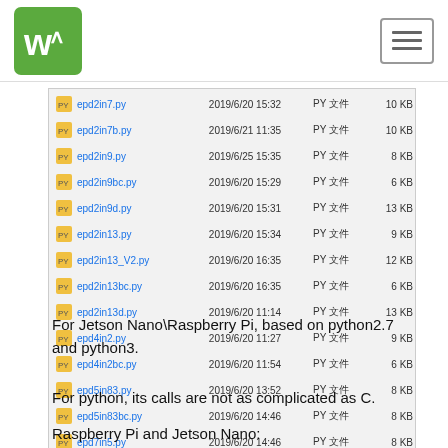Waveshare logo and navigation
[Figure (screenshot): Windows File Explorer screenshot showing a list of Python (.py) files and a Font.ttc file with dates, file types labeled as PY文件 or TrueType Collect., and sizes in KB.]
For Jetson Nano\Raspberry Pi, based on python2.7 and python3.
For python, its calls are not as complicated as C.
Raspberry Pi and Jetson Nano: